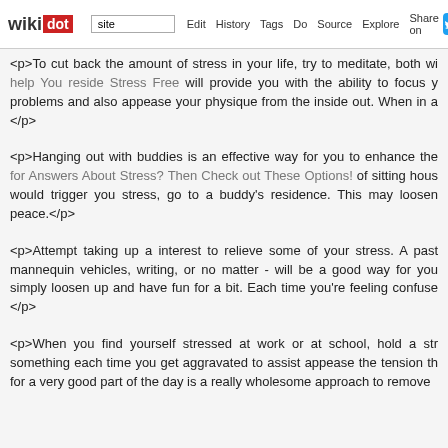wikidot | site | Edit | History | Tags | Source | Do | Explore | Share on Twitter
<p>To cut back the amount of stress in your life, try to meditate, both wi help You reside Stress Free will provide you with the ability to focus y problems and also appease your physique from the inside out. When in a </p>
<p>Hanging out with buddies is an effective way for you to enhance the for Answers About Stress? Then Check out These Options! of sitting hous would trigger you stress, go to a buddy's residence. This may loosen peace.</p>
<p>Attempt taking up a interest to relieve some of your stress. A past mannequin vehicles, writing, or no matter - will be a good way for you simply loosen up and have fun for a bit. Each time you're feeling confuse </p>
<p>When you find yourself stressed at work or at school, hold a str something each time you get aggravated to assist appease the tension th for a very good part of the day is a really wholesome approach to remove